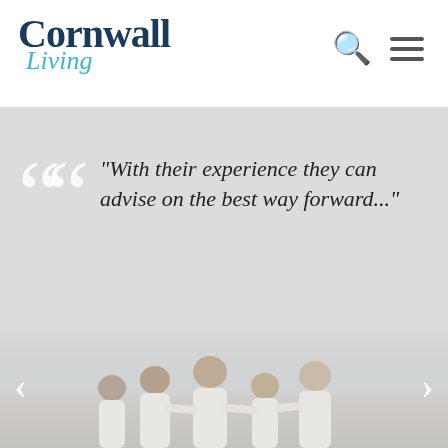Cornwall Living
"With their experience they can advise on the best way forward..."
[Figure (photo): Family of five viewed from behind, sitting together on a beach looking out at the sea, all wearing white clothing]